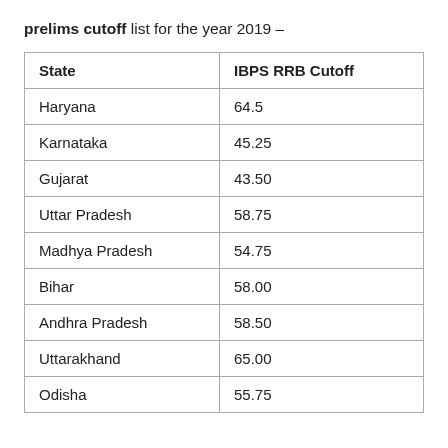prelims cutoff list for the year 2019 –
| State | IBPS RRB Cutoff |
| --- | --- |
| Haryana | 64.5 |
| Karnataka | 45.25 |
| Gujarat | 43.50 |
| Uttar Pradesh | 58.75 |
| Madhya Pradesh | 54.75 |
| Bihar | 58.00 |
| Andhra Pradesh | 58.50 |
| Uttarakhand | 65.00 |
| Odisha | 55.75 |